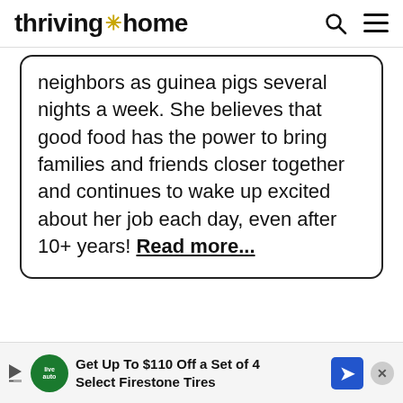thriving * home
neighbors as guinea pigs several nights a week. She believes that good food has the power to bring families and friends closer together and continues to wake up excited about her job each day, even after 10+ years! Read more...
Get Up To $110 Off a Set of 4 Select Firestone Tires